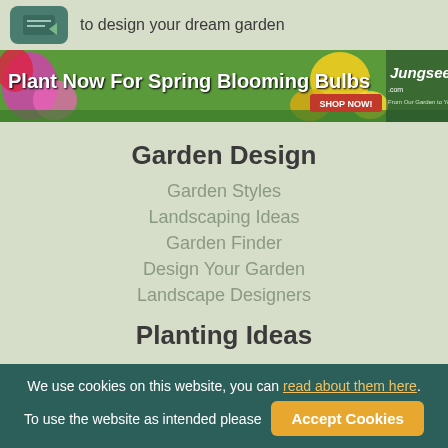to design your dream garden
[Figure (illustration): Jungseed banner advertisement: 'Plant Now For Spring Blooming Bulbs' with colorful flowers and SHOP NOW button]
Garden Design
Garden Styles
Landscaping Ideas
Garden Finder
Design Your Garden
Landscape Designers
Planting Ideas
We use cookies on this website, you can read about them here. To use the website as intended please Accept Cookies